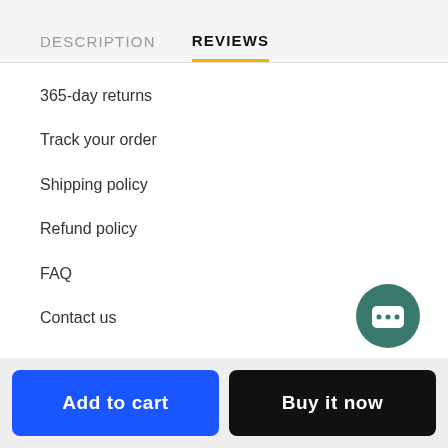DESCRIPTION   REVIEWS
365-day returns
Track your order
Shipping policy
Refund policy
FAQ
Contact us
[Figure (illustration): Teal circular chat bubble icon with three dots indicating a chat/messaging feature]
Add to cart
Buy it now